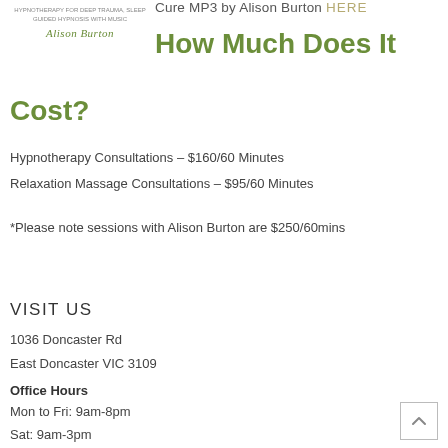[Figure (logo): Alison Burton logo with text 'Hypnotherapy for deep trauma, sleep, guided hypnosis with music' and cursive signature]
Cure MP3 by Alison Burton HERE
How Much Does It Cost?
Hypnotherapy Consultations – $160/60 Minutes
Relaxation Massage Consultations – $95/60 Minutes
*Please note sessions with Alison Burton are $250/60mins
VISIT US
1036 Doncaster Rd
East Doncaster VIC 3109
Office Hours
Mon to Fri: 9am-8pm
Sat: 9am-3pm